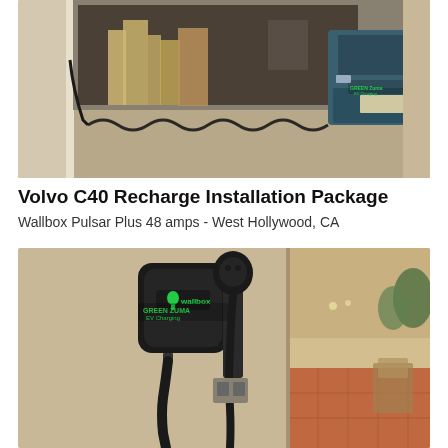[Figure (photo): Garage interior with a Hyundai EV (teal/dark car) parked inside, visible charging cable running in a wavy pattern across the concrete floor, various items and boards leaning against the wall. A 'Green Zuma EV Charging' sticker is visible on the rear bumper.]
Volvo C40 Recharge Installation Package
Wallbox Pulsar Plus 48 amps - West Hollywood, CA
[Figure (photo): Exterior stucco wall with a Wallbox EV charger (square black unit with green Wallbox logo) mounted on the wall, with a charging cable hanging down. Next to it is a separate outlet/receptacle with another cable. A fenced outdoor patio area with red tile flooring and greenery is visible to the right. A 'Green Zuma EV Charging' watermark overlay is visible.]